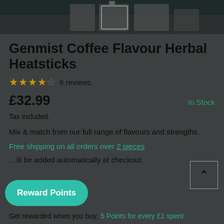[Figure (screenshot): Product thumbnail images strip at top of page — partial product images visible against dark background]
Genmist Coffee Flavour Herbal Heatsticks
★★★★☆ 6 reviews
£32.99   In Stock
Tax included.
Mix & match from our full range of flavours and strengths.
Free shipping on all orders over 2 pieces
...ill be added automatically at checkout
Reward Points
Get rewarded when you buy: 5 Points for every £1 spent